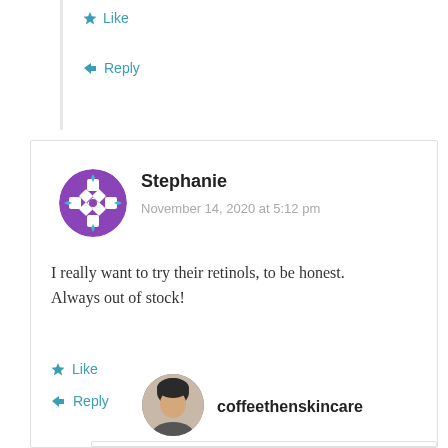Like
Reply
Stephanie
November 14, 2020 at 5:12 pm
I really want to try their retinols, to be honest. Always out of stock!
Like
Reply
coffeethenskincare